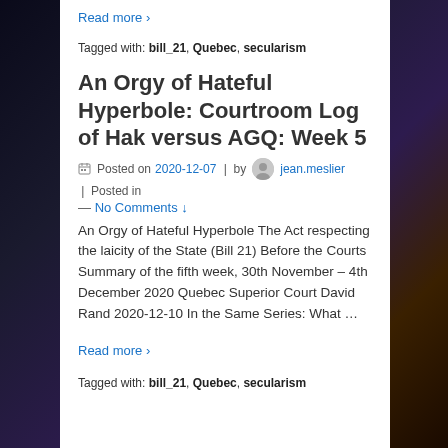Read more ›
Tagged with: bill_21, Quebec, secularism
An Orgy of Hateful Hyperbole: Courtroom Log of Hak versus AGQ: Week 5
Posted on 2020-12-07 | by jean.meslier | Posted in
— No Comments ↓
An Orgy of Hateful Hyperbole The Act respecting the laicity of the State (Bill 21) Before the Courts Summary of the fifth week, 30th November – 4th December 2020 Quebec Superior Court David Rand 2020-12-10 In the Same Series: What …
Read more ›
Tagged with: bill_21, Quebec, secularism